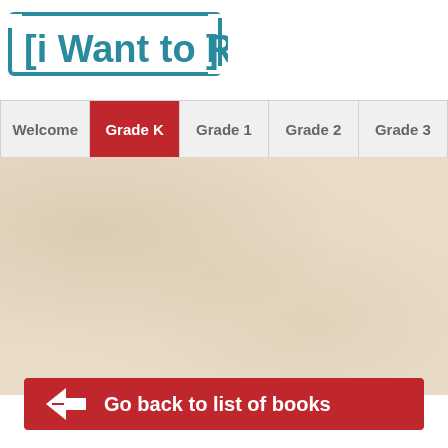[Figure (logo): I Want to Read logo — teal text in a rectangular bracket/border frame]
[Figure (screenshot): Navigation tab bar with Welcome, Grade K (active/red), Grade 1, Grade 2, Grade 3 tabs]
[Figure (photo): Textured beige/cream paper or cardboard surface filling the main content area]
[Figure (other): Red button with white left-pointing arrow and text 'Go back to list of books']